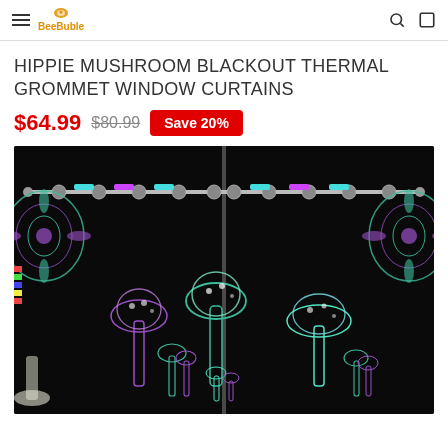BeeBuble
HIPPIE MUSHROOM BLACKOUT THERMAL GROMMET WINDOW CURTAINS
$64.99  $80.99  Save 20%
[Figure (photo): Product photo of hippie mushroom blackout thermal grommet window curtains. Two black curtain panels with iridescent/holographic glowing mushroom designs in teal, purple, and green. Top corners feature ornate mandala patterns. Curtains are hung on a rod with metal grommets.]